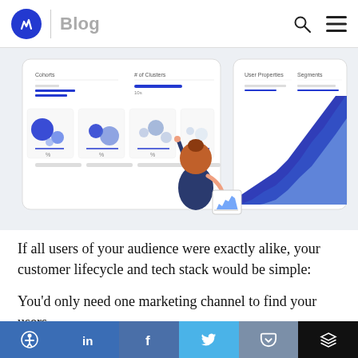Blog
[Figure (illustration): A stylized illustration showing analytics dashboard UI on tablets with bubble charts and area charts, and a person pointing at a tablet screen showing a rising chart.]
If all users of your audience were exactly alike, your customer lifecycle and tech stack would be simple:
You'd only need one marketing channel to find your users.
You'd only need to build one set of features to solve their
Accessibility | LinkedIn | Facebook | Twitter | Pocket | Buffer